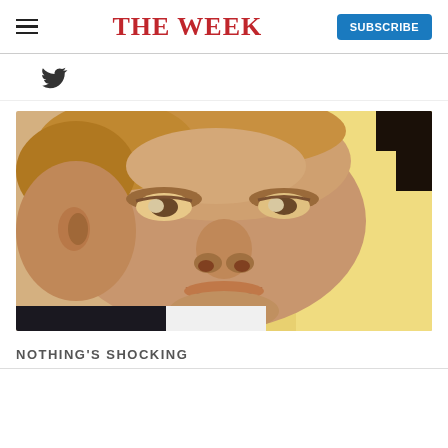THE WEEK
[Figure (photo): Close-up photo of a person's face against a yellow background]
NOTHING'S SHOCKING